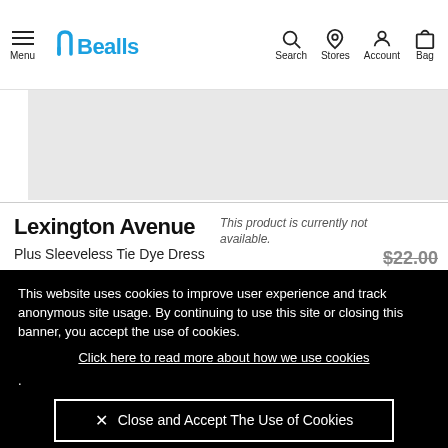Menu | Bealls | Search | Stores | Account | Bag
[Figure (screenshot): Bealls website product page header with navigation icons (Menu hamburger, Bealls logo, Search, Stores, Account, Bag)]
[Figure (photo): Product image area (gray placeholder)]
Lexington Avenue
Plus Sleeveless Tie Dye Dress
This product is currently not available.
$22.00
This website uses cookies to improve user experience and track anonymous site usage. By continuing to use this site or closing this banner, you accept the use of cookies.
Click here to read more about how we use cookies
.
✕ Close and Accept The Use of Cookies